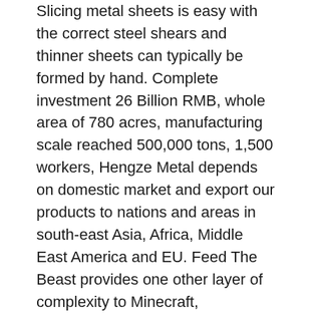Slicing metal sheets is easy with the correct steel shears and thinner sheets can typically be formed by hand. Complete investment 26 Billion RMB, whole area of 780 acres, manufacturing scale reached 500,000 tons, 1,500 workers, Hengze Metal depends on domestic market and export our products to nations and areas in south-east Asia, Africa, Middle East America and EU. Feed The Beast provides one other layer of complexity to Minecraft, introducing a huge number of new gadgets, advanced recreation mechanics, scenic world-era, and much, far more to the common sport.
By means of our glorious high quality management and the most expert folks, we protecting bettering and providing the best quality stainless-steel pipe, chrome steel sheet, chrome steel tube, stainless steel coil, stainless steel plate to customers. Merchandise included at quality stainless-steel plate...